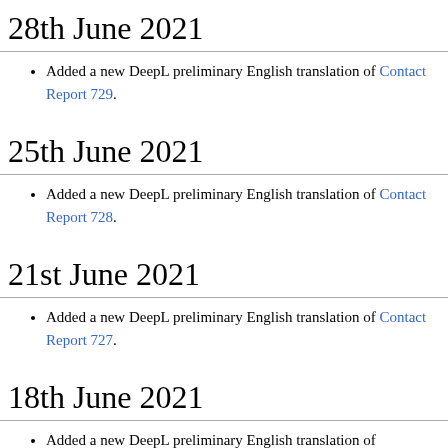28th June 2021
Added a new DeepL preliminary English translation of Contact Report 729.
25th June 2021
Added a new DeepL preliminary English translation of Contact Report 728.
21st June 2021
Added a new DeepL preliminary English translation of Contact Report 727.
18th June 2021
Added a new DeepL preliminary English translation of